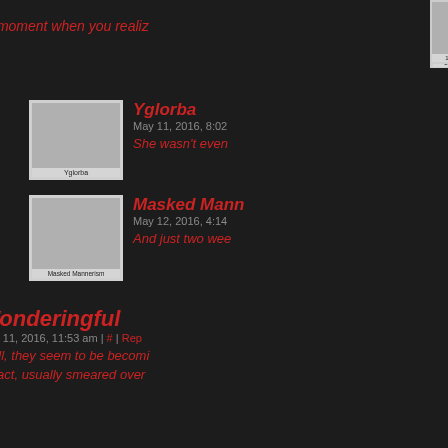[Figure (screenshot): Partial comment entry at top with avatar labeled '12 Condescending I' and truncated red text 'That moment when you realiz...']
Yglorba
May 11, 2016, 8:02
She wasn't even...
Masked Mann...
May 12, 2016, 4:14
And just two wee...
Wonderingful
May 11, 2016, 11:53 am | # | Rep...
Well, they seem to be becomi...
In fact, usually smeared over...
The_Rippy_O...
May 11, 2016, 8:10
Mottom: "Darling...
578 Sex Ma...
May 12, 2016,
33 Darling R... Angel, I hat...